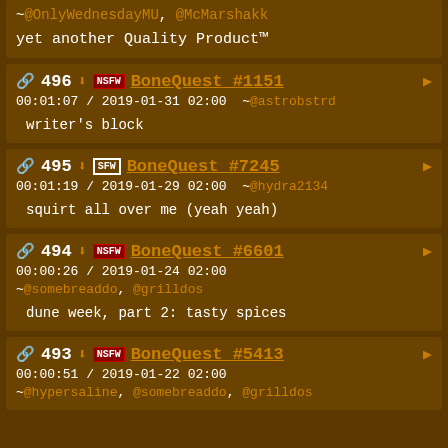~@OnlyWednesdayMU, @McMarshakk
    yet another Quality Product™
496 | BoneQuest #1151 | 00:01:07 / 2019-01-31 02:00 ~@astrobstrd | writer's block
495 | SFW | BoneQuest #7245 | 00:01:19 / 2019-01-29 02:00 ~@hydra2134 | squirt all over me (yeah yeah)
494 | BoneQuest #6601 | 00:00:26 / 2019-01-24 02:00 ~@somebreaddo, @grilldos | dune week, part 2: tasty spices
493 | BoneQuest #5413 | 00:00:51 / 2019-01-22 02:00 ~@hypersaline, @somebreaddo, @grilldos